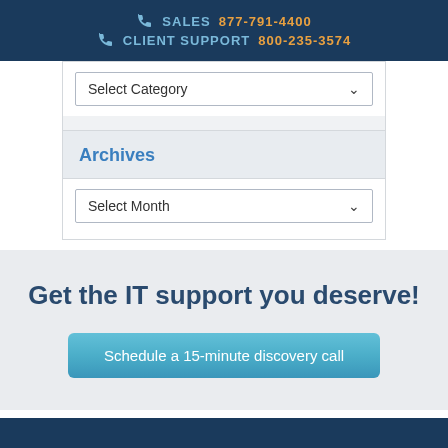SALES 877-791-4400 CLIENT SUPPORT 800-235-3574
Select Category
Archives
Select Month
Get the IT support you deserve!
Schedule a 15-minute discovery call